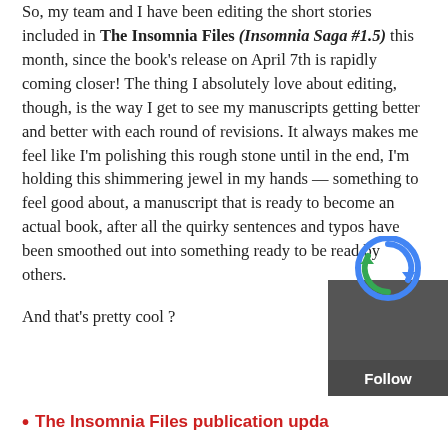So, my team and I have been editing the short stories included in The Insomnia Files (Insomnia Saga #1.5) this month, since the book's release on April 7th is rapidly coming closer! The thing I absolutely love about editing, though, is the way I get to see my manuscripts getting better and better with each round of revisions. It always makes me feel like I'm polishing this rough stone until in the end, I'm holding this shimmering jewel in my hands — something to feel good about, a manuscript that is ready to become an actual book, after all the quirky sentences and typos have been smoothed out into something ready to be read by others.

And that's pretty cool ?
The Insomnia Files publication upda…